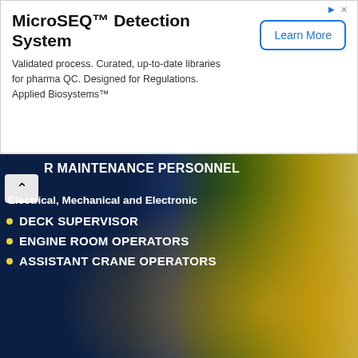[Figure (infographic): Advertisement banner for MicroSEQ™ Detection System by Applied Biosystems. White background with title, description text, and a 'Learn More' button.]
[Figure (infographic): Job recruitment banner for oil and gas positions including Deck Supervisor, Engine Room Operators, Assistant Crane Operators. Dark blue background with harbor night image and text listing Electrical, Mechanical and Electronic maintenance personnel. URL www.oiljoin.com shown.]
North Sea Offshore Jobs
[Figure (infographic): NOMAC Oil and Gas Jobs recruitment banner showing black background with list of job positions including CCR Operator, Field Operator, Chemist, Local Operator, Shift Supervisor, Electrical Technician, Mechanical Technician, Instrument Technician, HSE Engineer, Chemist, HR Supervisor, HSE Senior Supervisor, HSSE Manager, Mechanical Engineer, Maintenance Manager, Shift Engineer, Mechanical Engineer, Electrical Engineer. Right side shows NOMAC logo with Oil and Gas Jobs text and industrial background.]